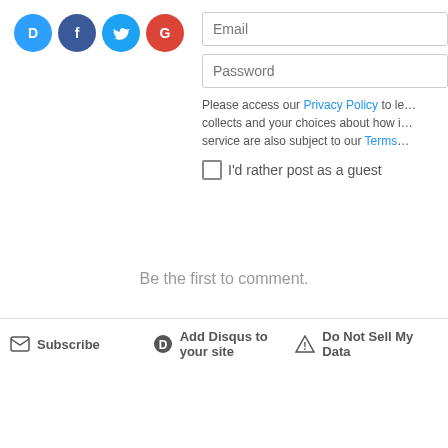[Figure (other): Social login icons: Disqus (blue speech bubble D), Facebook (dark blue F), Twitter (light blue bird), Google (red G)]
Email
Password
Please access our Privacy Policy to learn what information Disqus collects and your choices about how it is used. All users of our service are also subject to our Terms of Service.
I'd rather post as a guest
Be the first to comment.
Subscribe
Add Disqus to your site
Do Not Sell My Data